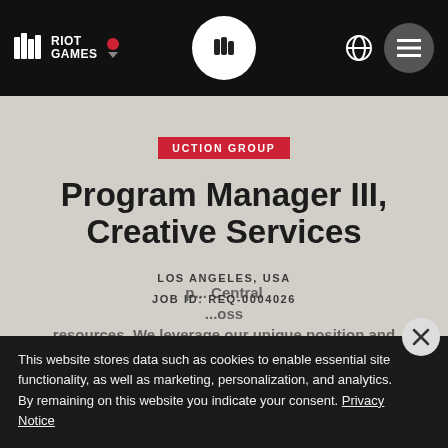Riot Games navigation bar with logo, center fist icon, globe icon, and menu button
UCTION GROUP
Program Manager III, Creative Services
LOS ANGELES, USA
JOB ID: REQ-0004026
This website stores data such as cookies to enable essential site functionality, as well as marketing, personalization, and analytics. By remaining on this website you indicate your consent. Privacy Notice